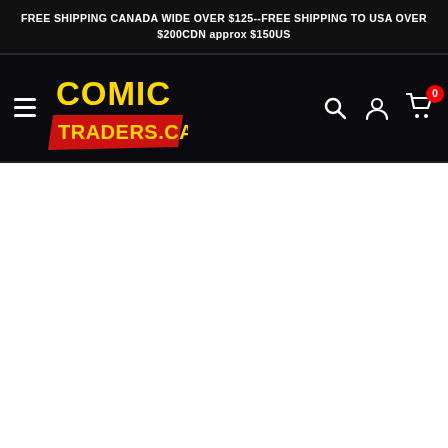FREE SHIPPING CANADA WIDE OVER $125--FREE SHIPPING TO USA OVER $200CDN approx $150US
[Figure (logo): Comic Traders CA logo - yellow COMIC text with red TRADERS.CA on a dark background, stylized comic book style lettering]